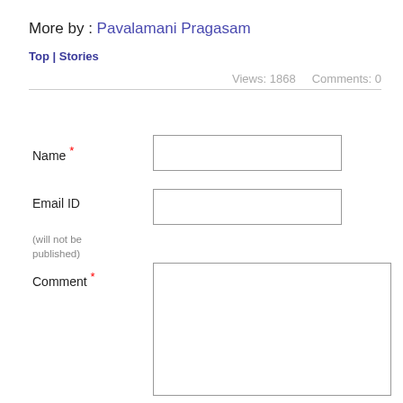More by :  Pavalamani Pragasam
Top | Stories
Views: 1868    Comments: 0
Name *
Email ID
(will not be published)
Comment *